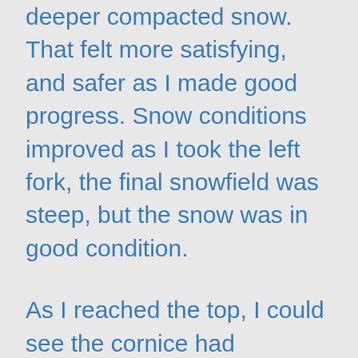deeper compacted snow. That felt more satisfying, and safer as I made good progress. Snow conditions improved as I took the left fork, the final snowfield was steep, but the snow was in good condition.
As I reached the top, I could see the cornice had dropped, probably some days before, falling down the natural chute below me. This fall of overhanging snow left a steep, almost vertical wall about ten feet high to negotiate, as usual, the final few moves of the climb prove to be the most difficult. I sorted out my mind